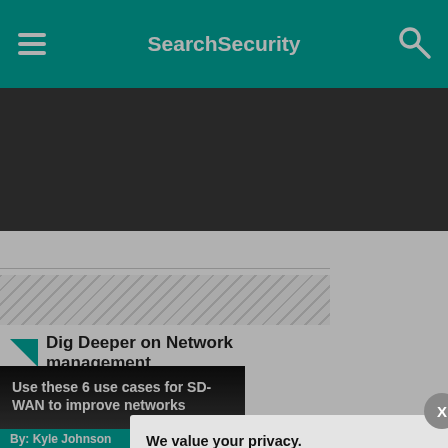SearchSecurity
[Figure (screenshot): Dark banner/advertisement area below navigation]
See complete definition
Dig Deeper on Network management
[Figure (screenshot): Article card with text: Use these 6 use cases for SD-WAN to improve networks. By: Kyle Johnson]
We value your privacy.
TechTarget and its partners employ cookies to improve your experience on our site, to analyze traffic and performance, and to serve personalized content and advertising that are relevant to your professional interests. You can manage your settings at any time. Please view our Privacy Policy for more information